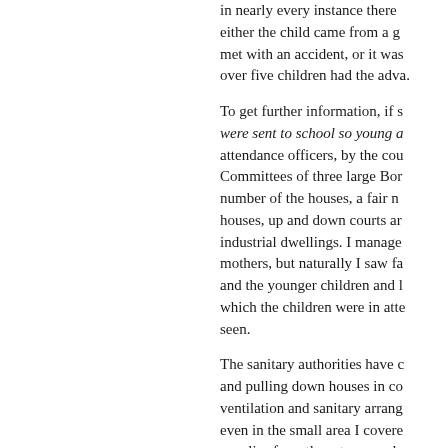in nearly every instance there either the child came from a g met with an accident, or it was over five children had the adva.
To get further information, if s were sent to school so young a attendance officers, by the cou Committees of three large Bor number of the houses, a fair n houses, up and down courts ar industrial dwellings. I manage mothers, but naturally I saw fa and the younger children and l which the children were in atte seen.
The sanitary authorities have c and pulling down houses in co ventilation and sanitary arrang even in the small area I covere supplies from three to seven h
[page 135]